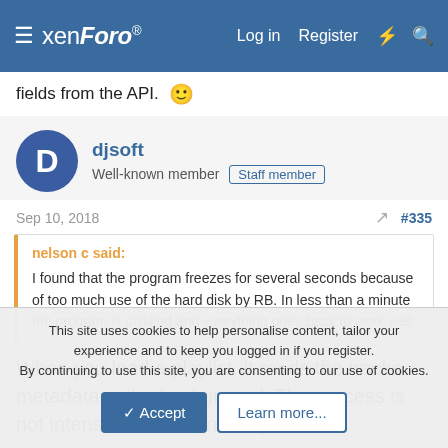xenForo — Log in  Register
fields from the API. 🙂
djsoft
Well-known member  Staff member
Sep 10, 2018  #335
nelson c said:
I found that the program freezes for several seconds because of too much use of the hard disk by RB. In less than a minute the program is distilled and everything goes back to work well.
When you load a playlist, it reads the tracks metadata in the background. The process is not intensive and will not impact PC
This site uses cookies to help personalise content, tailor your experience and to keep you logged in if you register.
By continuing to use this site, you are consenting to our use of cookies.